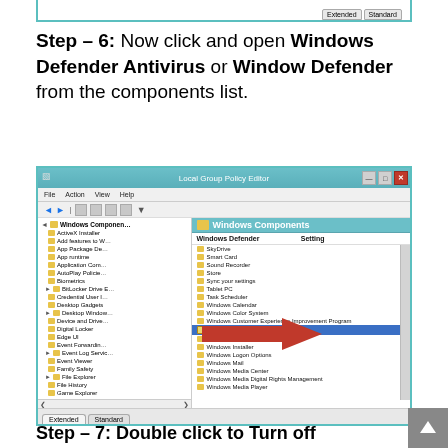[Figure (screenshot): Top portion of a previous screenshot showing Extended and Standard tabs at the bottom, partially visible, with a teal border.]
Step – 6: Now click and open Windows Defender Antivirus or Window Defender from the components list.
[Figure (screenshot): Local Group Policy Editor window showing Windows Components tree on the left, with Windows Defender highlighted in blue on the right side list. A large red arrow points to the Windows Defender entry.]
Step – 7: Double click to Turn off